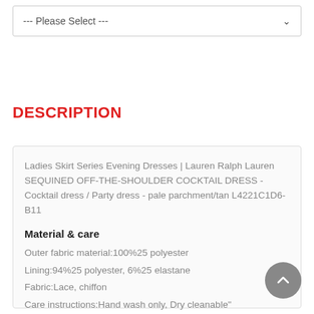--- Please Select ---
DESCRIPTION
Ladies Skirt Series Evening Dresses | Lauren Ralph Lauren SEQUINED OFF-THE-SHOULDER COCKTAIL DRESS - Cocktail dress / Party dress - pale parchment/tan L4221C1D6-B11
Material & care
Outer fabric material:100%25 polyester
Lining:94%25 polyester, 6%25 elastane
Fabric:Lace, chiffon
Care instructions:Hand wash only, Dry cleanable"
Details